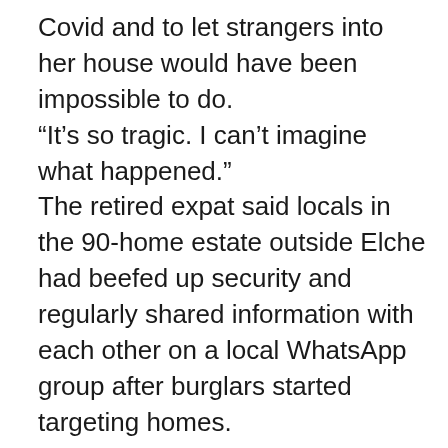Covid and to let strangers into her house would have been impossible to do. “It’s so tragic. I can’t imagine what happened.” The retired expat said locals in the 90-home estate outside Elche had beefed up security and regularly shared information with each other on a local WhatsApp group after burglars started targeting homes. He said Monica, who he believed had worked as a model in London and originated from Europe before marrying a Brit, was very “worried about Covid” and had previously expressed fears about delivery men “casing her home”. He added: “The village has had a problem